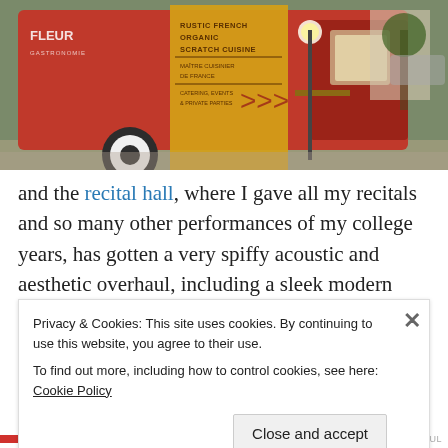[Figure (photo): A red food truck with yellow signage reading 'RUSTIC FRENCH ORGANIC SCRATCH CUISINE' and other text, parked on a street in sunlight.]
and the recital hall, where I gave all my recitals and so many other performances of my college years, has gotten a very spiffy acoustic and aesthetic overhaul, including a sleek modern lobby:
Privacy & Cookies: This site uses cookies. By continuing to use this website, you agree to their use.
To find out more, including how to control cookies, see here: Cookie Policy